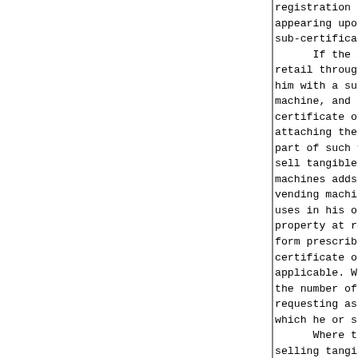registration shall bear the same name appearing upon the certificate to which sub-certificates relate.
      If the applicant will sell at retail through vending machines, him with a sub-certificate of registration for each machine, and the applicant shall affix the certificate of registration on or by attaching the sub-certificate of registration to part of such vending machine. If a person who shall sell tangible personal property through vending machines adds an additional vending machine or vending machines to the number of vending machines he uses in his or her business of selling personal property at retail, he or she shall make request on a form prescribed by the Department for an additional certificate or additional sub-certificates, as applicable. With each such request, he shall state the number of sub-certificates of registration he is requesting as well as the total number of machines through which he or she makes retail sales.
      Where the same person engages in the business of selling tangible personal property at retail in two or more which businesses are substantially dissimilar, or which are engaged in under different trade names, or which are conducted under substantially dissimilar circumstances so that it is not practicable, from an accounting or auditing standpoint, for such businesses to be conducted together, the Department may require or permit such person to file same requirements concerning the returns and to keep the that are provided for hereinbefore